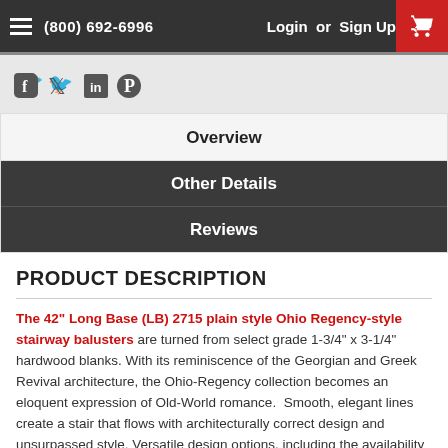(800) 692-6996   Login or Sign Up
[Figure (screenshot): Social media share icons: Facebook, Twitter, LinkedIn, Pinterest]
Overview
Other Details
Reviews
PRODUCT DESCRIPTION
The 42" Long Base (LB) 2715 plain style Ohio Regency-style stairway balusters are turned from select grade 1-3/4" x 3-1/4" hardwood blanks. With its reminiscence of the Georgian and Greek Revival architecture, the Ohio-Regency collection becomes an eloquent expression of Old-World romance.  Smooth, elegant lines create a stair that flows with architecturally correct design and unsurpassed style. Versatile design options, including the availability in plain, fluted, reeded and octagonal turnings make the Ohio Stairways series a favorite in well-designed homes across the country.  The